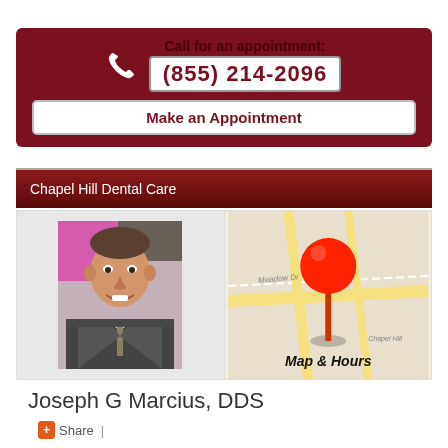Call for an appointment: (855) 214-2096
Make an Appointment
Chapel Hill Dental Care
[Figure (photo): Portrait photo of a middle-aged man in a suit and tie, smiling, in front of a colorful urban backdrop]
[Figure (map): Map image with a red push-pin/location marker, labeled Map & Hours]
Joseph G Marcius, DDS
Share